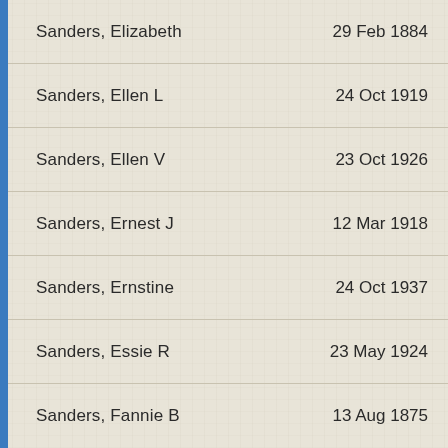Sanders, Elizabeth    29 Feb 1884
Sanders, Ellen L    24 Oct 1919
Sanders, Ellen V    23 Oct 1926
Sanders, Ernest J    12 Mar 1918
Sanders, Ernstine    24 Oct 1937
Sanders, Essie R    23 May 1924
Sanders, Fannie B    13 Aug 1875